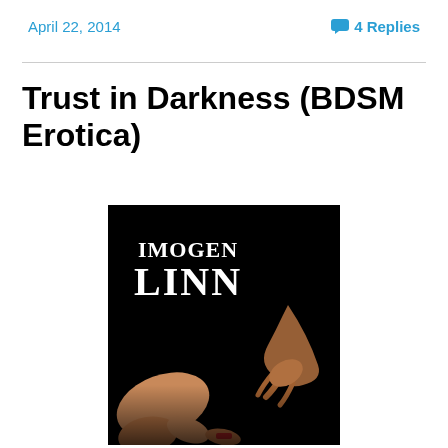April 22, 2014    💬 4 Replies
Trust in Darkness (BDSM Erotica)
[Figure (illustration): Book cover for 'Trust in Darkness' by Imogen Linn. Black background with text 'IMOGEN LINN' in white serif font at top left, and a dark artistic photograph showing two people's hands and legs against a black background.]